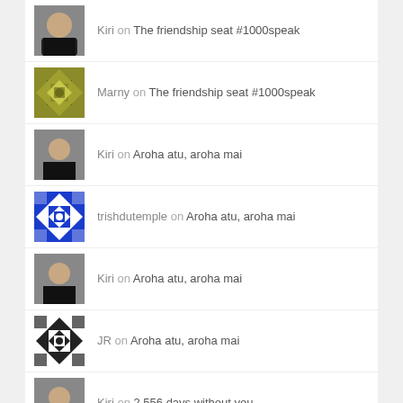Kiri on The friendship seat #1000speak
Marny on The friendship seat #1000speak
Kiri on Aroha atu, aroha mai
trishdutemple on Aroha atu, aroha mai
Kiri on Aroha atu, aroha mai
JR on Aroha atu, aroha mai
Kiri on 2,556 days without you
Kate Kerridge on 2,556 days without you